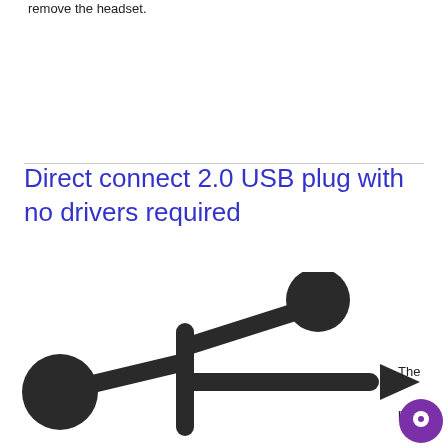remove the headset.
Direct connect 2.0 USB plug with no drivers required
[Figure (illustration): USB 2.0 symbol/logo icon showing the standard USB trident shape with two circles and an arrow, rendered in dark charcoal/black color]
The plug